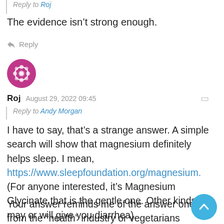Reply to Roj
The evidence isn't strong enough.
Reply
[Figure (illustration): Circular avatar with magenta/pink decorative mandala pattern on white background]
Roj  August 29, 2022 09:45
Reply to Andy Morgan
I have to say, that's a strange answer. A simple search will show that magnesium definitely helps sleep. I mean, https://www.sleepfoundation.org/magnesium. (For anyone interested, it's Magnesium Glycinate that is the gentle one. Other kinds may or will give you diarrhea).
Your answer reminds me of the answer one gets from the "health" industry or vegetarians